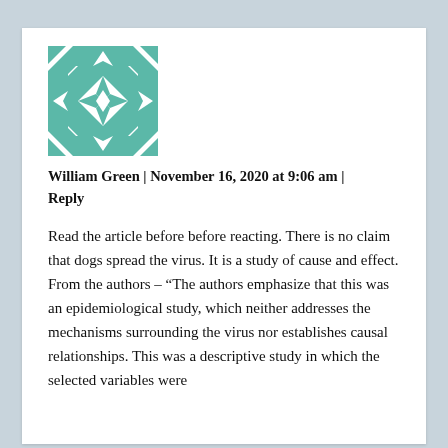[Figure (illustration): Decorative teal and white geometric quilt-pattern avatar image]
William Green | November 16, 2020 at 9:06 am | Reply
Read the article before before reacting. There is no claim that dogs spread the virus. It is a study of cause and effect. From the authors – “The authors emphasize that this was an epidemiological study, which neither addresses the mechanisms surrounding the virus nor establishes causal relationships. This was a descriptive study in which the selected variables were